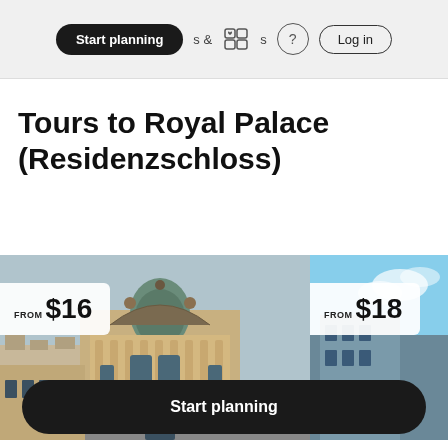Start plannings & Activities ? Log in
Tours to Royal Palace (Residenzschloss)
[Figure (photo): Photo of Royal Palace (Residenzschloss) with price badge showing FROM $16]
[Figure (photo): Partial photo card with price badge showing FROM $18 and label 'Small']
Start planning